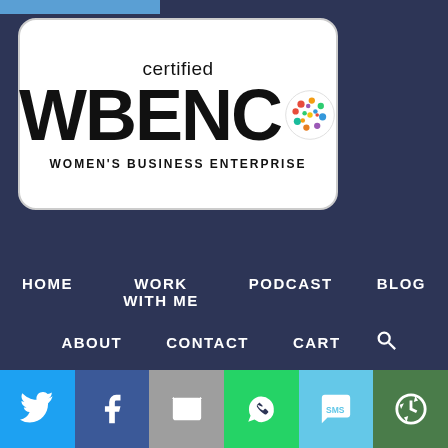[Figure (logo): WBENC Certified Women's Business Enterprise logo badge — white rounded rectangle with text 'certified WBENC WOMEN'S BUSINESS ENTERPRISE' and colorful dots forming a globe/circle]
HOME  WORK WITH ME  PODCAST  BLOG  ABOUT  CONTACT  CART  [search icon]
[Figure (infographic): Social sharing bar with six colored buttons: Twitter (blue bird icon), Facebook (blue f icon), Email (grey envelope icon), WhatsApp (green phone icon), SMS (light blue SMS icon), More/share (green circular arrows icon)]